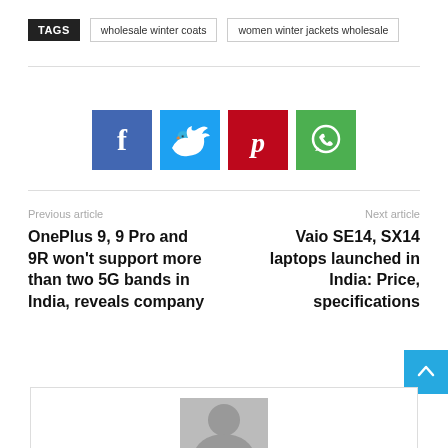TAGS   wholesale winter coats   women winter jackets wholesale
[Figure (infographic): Four social share buttons: Facebook (blue), Twitter (cyan), Pinterest (red), WhatsApp (green)]
Previous article
OnePlus 9, 9 Pro and 9R won't support more than two 5G bands in India, reveals company
Next article
Vaio SE14, SX14 laptops launched in India: Price, specifications
[Figure (illustration): Author avatar placeholder (grey silhouette)]